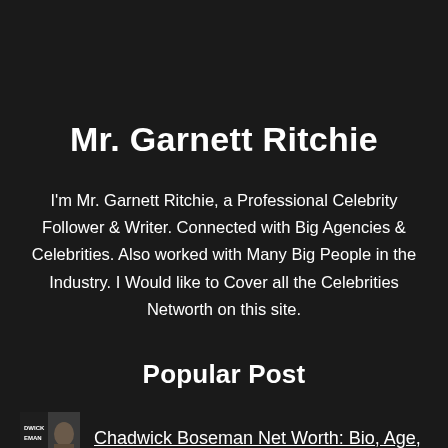Mr. Garnett Ritchie
I'm Mr. Garnett Ritchie, a Professional Celebrity Follower & Writer. Connected with Big Agencies & Celebrities. Also worked with Many Big People in the Industry. I Would like to Cover all the Celebrities Networth on this site.
Popular Post
Chadwick Boseman Net Worth: Bio, Age,